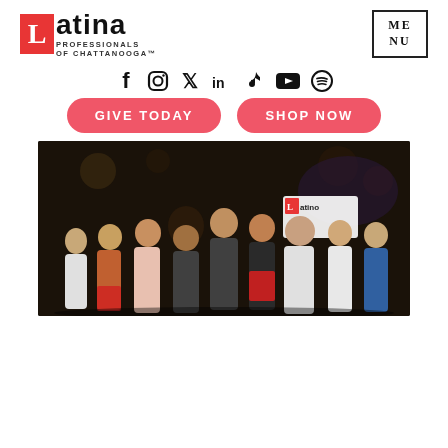[Figure (logo): Latina Professionals of Chattanooga logo with red L block and menu button]
[Figure (infographic): Row of social media icons: Facebook, Instagram, Twitter, LinkedIn, TikTok, YouTube, Spotify]
[Figure (infographic): Two red pill-shaped buttons: GIVE TODAY and SHOP NOW]
[Figure (photo): Group photo of approximately 9 women posing outdoors at night with Latina Professionals of Chattanooga banner in background]